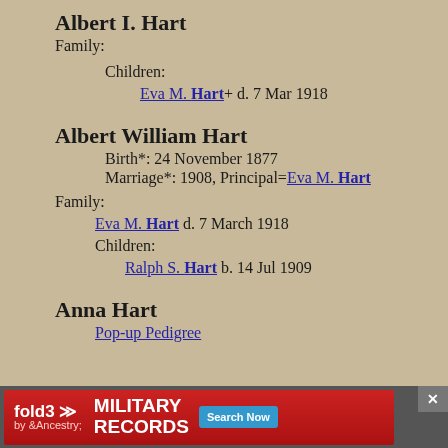Albert I. Hart
Family:
Children:
Eva M. Hart+ d. 7 Mar 1918
Albert William Hart
Birth*: 24 November 1877
Marriage*: 1908, Principal=Eva M. Hart
Family:
Eva M. Hart d. 7 March 1918
Children:
Ralph S. Hart b. 14 Jul 1909
Anna Hart
Pop-up Pedigree